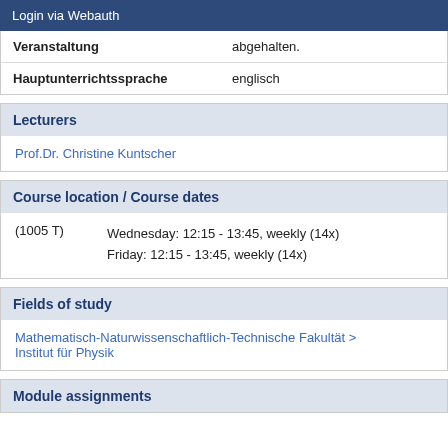Login via Webauth
| Veranstaltung | abgehalten. |
| Hauptunterrichtssprache | englisch |
Lecturers
Prof.Dr. Christine Kuntscher
Course location / Course dates
(1005 T)   Wednesday: 12:15 - 13:45, weekly (14x)
Friday: 12:15 - 13:45, weekly (14x)
Fields of study
Mathematisch-Naturwissenschaftlich-Technische Fakultät > Institut für Physik
Module assignments